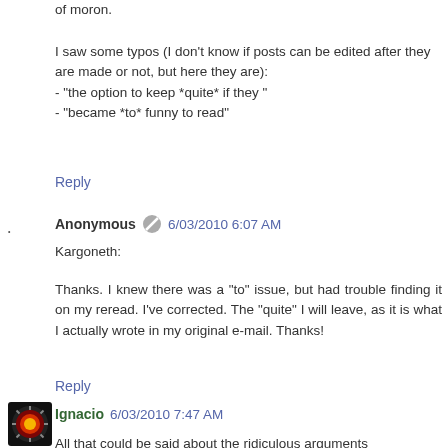of moron.
I saw some typos (I don't know if posts can be edited after they are made or not, but here they are):
- "the option to keep *quite* if they "
- "became *to* funny to read"
Reply
Anonymous 6/03/2010 6:07 AM
Kargoneth:
Thanks. I knew there was a "to" issue, but had trouble finding it on my reread. I've corrected. The "quite" I will leave, as it is what I actually wrote in my original e-mail. Thanks!
Reply
Ignacio 6/03/2010 7:47 AM
All that could be said about the ridiculous arguments